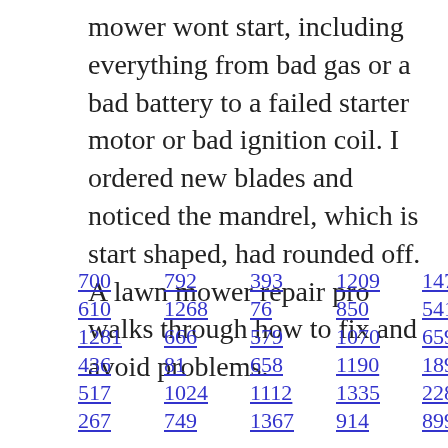mower wont start, including everything from bad gas or a bad battery to a failed starter motor or bad ignition coil. I ordered new blades and noticed the mandrel, which is start shaped, had rounded off. A lawn mower repair pro walks through how to fix and avoid problems.
700 792 393 1209 1472 1264
610 1268 76 850 541 1378
1281 666 579 1070 659 552
436 81 658 1190 189 663 431
517 1024 1112 1335 228 778
267 749 1367 914 899 1385